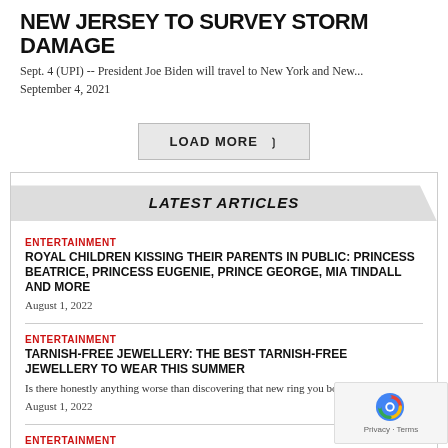NEW JERSEY TO SURVEY STORM DAMAGE
Sept. 4 (UPI) -- President Joe Biden will travel to New York and New...
September 4, 2021
LOAD MORE ˅
LATEST ARTICLES
ENTERTAINMENT
ROYAL CHILDREN KISSING THEIR PARENTS IN PUBLIC: PRINCESS BEATRICE, PRINCESS EUGENIE, PRINCE GEORGE, MIA TINDALL AND MORE
August 1, 2022
ENTERTAINMENT
TARNISH-FREE JEWELLERY: THE BEST TARNISH-FREE JEWELLERY TO WEAR THIS SUMMER
Is there honestly anything worse than discovering that new ring you bought has turned...
August 1, 2022
ENTERTAINMENT